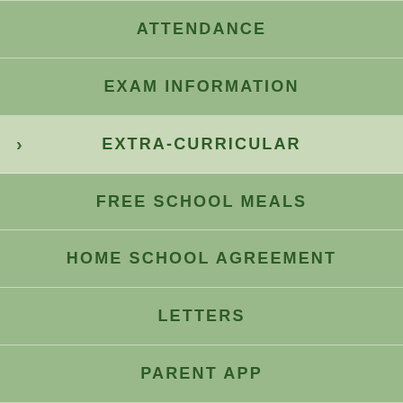ATTENDANCE
EXAM INFORMATION
EXTRA-CURRICULAR
FREE SCHOOL MEALS
HOME SCHOOL AGREEMENT
LETTERS
PARENT APP